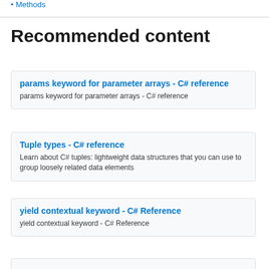Methods
Recommended content
params keyword for parameter arrays - C# reference
params keyword for parameter arrays - C# reference
Tuple types - C# reference
Learn about C# tuples: lightweight data structures that you can use to group loosely related data elements
yield contextual keyword - C# Reference
yield contextual keyword - C# Reference